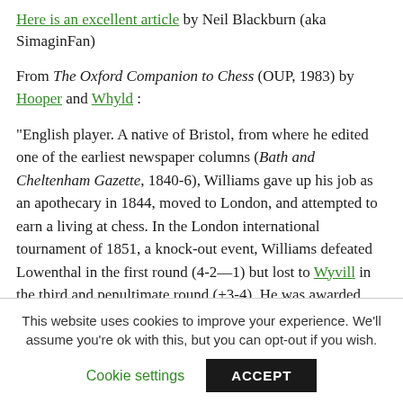Here is an excellent article by Neil Blackburn (aka SimaginFan)
From The Oxford Companion to Chess (OUP, 1983) by Hooper and Whyld :
"English player. A native of Bristol, from where he edited one of the earliest newspaper columns (Bath and Cheltenham Gazette, 1840-6), Williams gave up his job as an apothecary in 1844, moved to London, and attempted to earn a living at chess. In the London international tournament of 1851, a knock-out event, Williams defeated Lowenthal in the first round (4-2—1) but lost to Wyvill in the third and penultimate round (+3-4), He was awarded third prize after defeating Staunton (+4=1 — 3), He admired Staunton's play and like several of his
This website uses cookies to improve your experience. We'll assume you're ok with this, but you can opt-out if you wish. Cookie settings ACCEPT